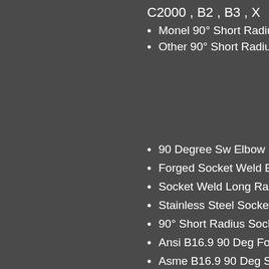C2000 , B2 , B3 , X
Monel 90° Short Radius Soc…
Other 90° Short Radius Soc…
90 Degree Sw Elbow
Forged Socket Weld Elbow
Socket Weld Long Radius 9…
Stainless Steel Socket Weld…
90° Short Radius Socket We…
Ansi B16.9 90 Deg Forged S…
Asme B16.9 90 Deg Socket…
90 Degree Elbow 3000lb So…
90 Degree Socket Weld Elb…
Sw 90 Degree Elbow